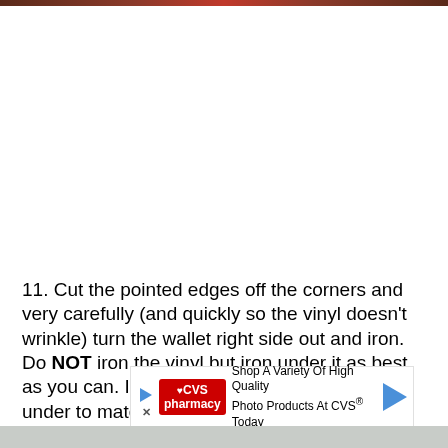[Figure (photo): Narrow decorative image bar at the top of the page showing a dark reddish-brown strip]
11. Cut the pointed edges off the corners and very carefully (and quickly so the vinyl doesn't wrinkle) turn the wallet right side out and iron. Do NOT iron the vinyl but iron under it as best as you can. Iron the raw edges from the hole under to match up with the rest of the seam.
[Figure (infographic): CVS advertisement banner: 'Shop A Variety Of High Quality Photo Products At CVS® Today']